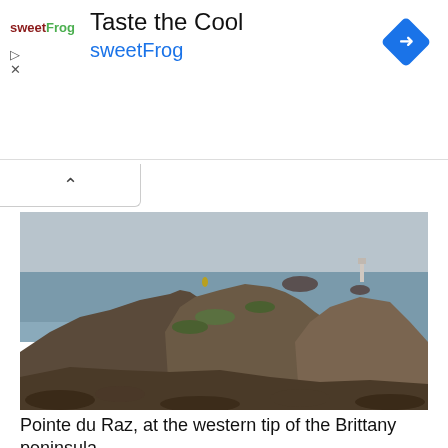[Figure (logo): sweetFrog advertisement banner with logo, title 'Taste the Cool', brand name 'sweetFrog', and a blue diamond navigation arrow icon]
[Figure (photo): Coastal rocky landscape at Pointe du Raz, at the western tip of the Brittany peninsula. Rugged dark rocks in the foreground with the grey sea in the background and a lighthouse visible in the distance.]
Pointe du Raz, at the western tip of the Brittany peninsula